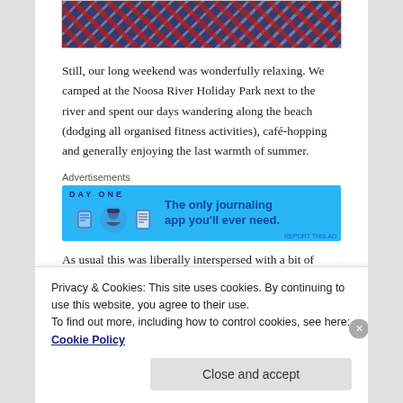[Figure (photo): Top of page: partial view of plaid/tartan fabric in red, dark blue, and white]
Still, our long weekend was wonderfully relaxing. We camped at the Noosa River Holiday Park next to the river and spent our days wandering along the beach (dodging all organised fitness activities), café-hopping and generally enjoying the last warmth of summer.
Advertisements
[Figure (screenshot): DAY ONE app advertisement banner on blue background. Left side shows app icons (journal, character, notepad). Right side text: 'The only journaling app you'll ever need.' Small 'REPORT THIS AD' link at bottom right.]
As usual this was liberally interspersed with a bit of
Privacy & Cookies: This site uses cookies. By continuing to use this website, you agree to their use.
To find out more, including how to control cookies, see here: Cookie Policy
Close and accept